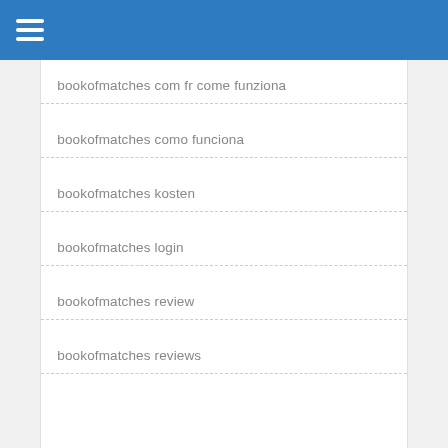bookofmatches com fr come funziona
bookofmatches como funciona
bookofmatches kosten
bookofmatches login
bookofmatches review
bookofmatches reviews